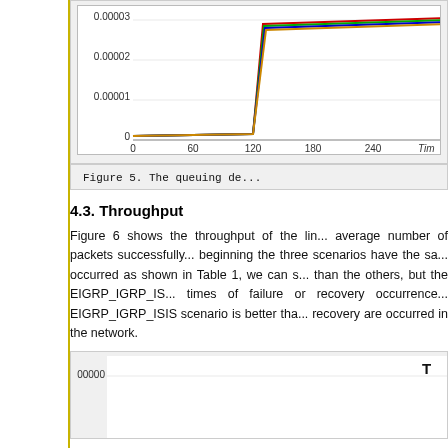[Figure (continuous-plot): Partial view of a line chart showing queuing delay over time. Y-axis shows values 0, 0.00001, 0.00002, 0.00003. X-axis shows values 0, 60, 120, 180, 240 with label 'Tim'. Multiple colored lines (red, green, blue, orange) rise steeply around x=120.]
Figure 5. The queuing de...
4.3. Throughput
Figure 6 shows the throughput of the lin... average number of packets successfully... beginning the three scenarios have the sa... occurred as shown in Table 1, we can s... than the others, but the EIGRP_IGRP_IS... times of failure or recovery occurrence... EIGRP_IGRP_ISIS scenario is better tha... recovery are occurred in the network.
[Figure (continuous-plot): Partial view of a line chart showing throughput. Y-axis shows 2500000 label visible. Legend label 'T' visible at top right. Chart is cropped at bottom of page.]